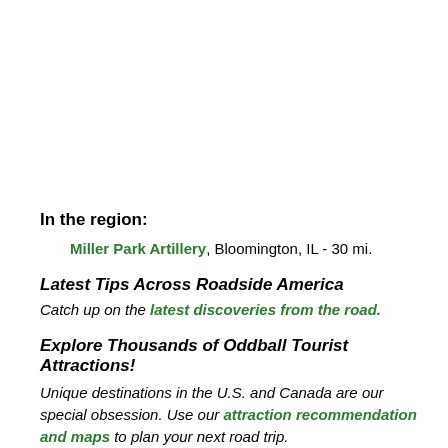In the region:
Miller Park Artillery, Bloomington, IL - 30 mi.
Latest Tips Across Roadside America
Catch up on the latest discoveries from the road.
Explore Thousands of Oddball Tourist Attractions!
Unique destinations in the U.S. and Canada are our special obsession. Use our attraction recommendation and maps to plan your next road trip.